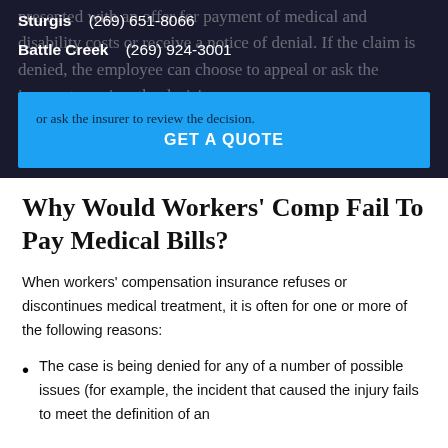presented with an offer for payment of medical and disability costs or receive a notice of denial. If the claim is denied, the employee can choose to appeal or ask the insurer to review the decision.
Sturgis (269) 651-8066
Battle Creek (269) 924-3001
GET A QUOTE
Why Would Workers' Comp Fail To Pay Medical Bills?
When workers' compensation insurance refuses or discontinues medical treatment, it is often for one or more of the following reasons:
The case is being denied for any of a number of possible issues (for example, the incident that caused the injury fails to meet the definition of an